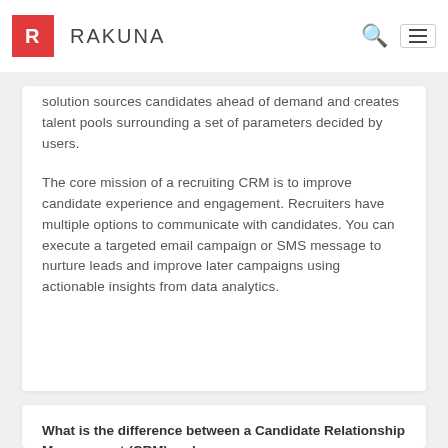RAKUNA
solution sources candidates ahead of demand and creates talent pools surrounding a set of parameters decided by users.
The core mission of a recruiting CRM is to improve candidate experience and engagement. Recruiters have multiple options to communicate with candidates. You can execute a targeted email campaign or SMS message to nurture leads and improve later campaigns using actionable insights from data analytics.
What is the difference between a Candidate Relationship Management (CRM) and an